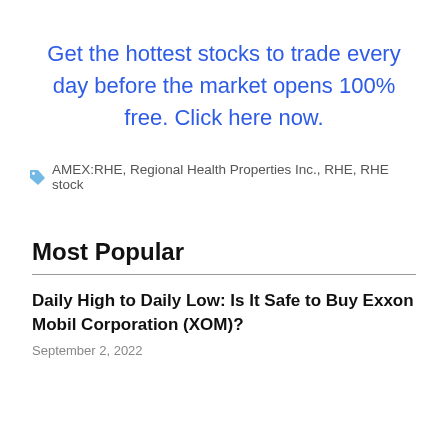Get the hottest stocks to trade every day before the market opens 100% free. Click here now.
AMEX:RHE, Regional Health Properties Inc., RHE, RHE stock
Most Popular
Daily High to Daily Low: Is It Safe to Buy Exxon Mobil Corporation (XOM)?
September 2, 2022